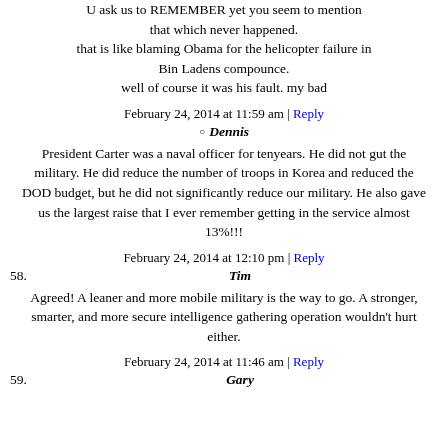U ask us to REMEMBER yet you seem to mention that which never happened. that is like blaming Obama for the helicopter failure in Bin Ladens compounce. well of course it was his fault. my bad
February 24, 2014 at 11:59 am | Reply
Dennis
President Carter was a naval officer for tenyears. He did not gut the military. He did reduce the number of troops in Korea and reduced the DOD budget, but he did not significantly reduce our military. He also gave us the largest raise that I ever remember getting in the service almost 13%!!!
February 24, 2014 at 12:10 pm | Reply
Tim
Agreed! A leaner and more mobile military is the way to go. A stronger, smarter, and more secure intelligence gathering operation wouldn't hurt either.
February 24, 2014 at 11:46 am | Reply
Gary